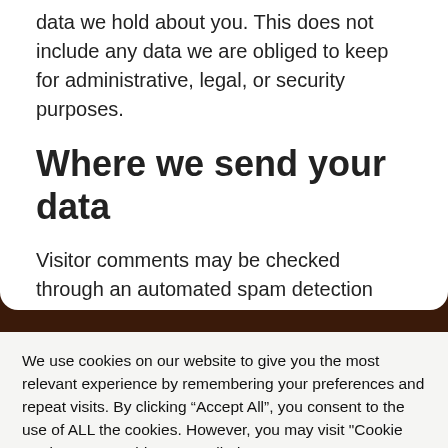data we hold about you. This does not include any data we are obliged to keep for administrative, legal, or security purposes.
Where we send your data
Visitor comments may be checked through an automated spam detection service.
We use cookies on our website to give you the most relevant experience by remembering your preferences and repeat visits. By clicking “Accept All”, you consent to the use of ALL the cookies. However, you may visit "Cookie Settings" to provide a controlled consent.
[Figure (other): Shopping cart icon with red badge showing 0]
Cookie Settings    Accept All